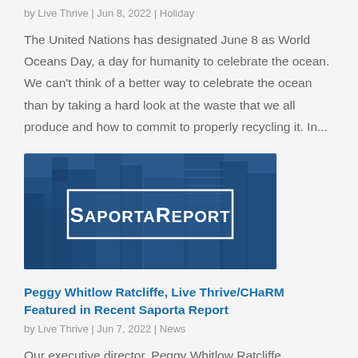by Live Thrive | Jun 8, 2022 | Holiday
The United Nations has designated June 8 as World Oceans Day, a day for humanity to celebrate the ocean. We can't think of a better way to celebrate the ocean than by taking a hard look at the waste that we all produce and how to commit to properly recycling it. In...
[Figure (logo): SaportaReport logo on a blue cityscape background showing city buildings overhead]
Peggy Whitlow Ratcliffe, Live Thrive/CHaRM Featured in Recent Saporta Report
by Live Thrive | Jun 7, 2022 | News
Our executive director, Peggy Whitlow Ratcliffe